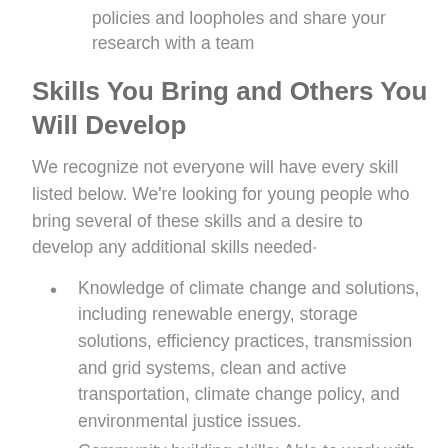policies and loopholes and share your research with a team
Skills You Bring and Others You Will Develop
We recognize not everyone will have every skill listed below. We're looking for young people who bring several of these skills and a desire to develop any additional skills needed.
Knowledge of climate change and solutions, including renewable energy, storage solutions, efficiency practices, transmission and grid systems, clean and active transportation, climate change policy, and environmental justice issues.
Community building skills: Able to work with a range of community members with